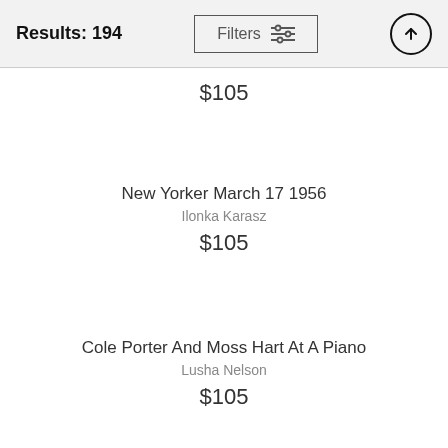Results: 194
$105
New Yorker March 17 1956
Ilonka Karasz
$105
Cole Porter And Moss Hart At A Piano
Lusha Nelson
$105